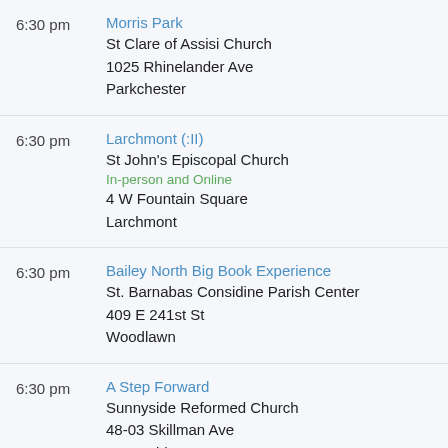6:30 pm | Morris Park | St Clare of Assisi Church | 1025 Rhinelander Ave | Parkchester
6:30 pm | Larchmont (:II) | St John's Episcopal Church | In-person and Online | 4 W Fountain Square | Larchmont
6:30 pm | Bailey North Big Book Experience | St. Barnabas Considine Parish Center | 409 E 241st St | Woodlawn
6:30 pm | A Step Forward | Sunnyside Reformed Church | 48-03 Skillman Ave | Sunnyside
6:45 pm | ...